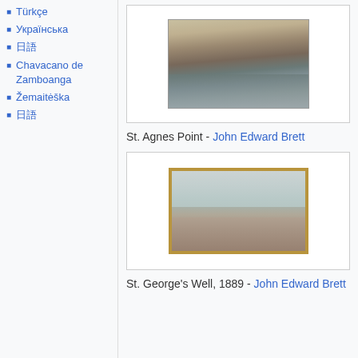Türkçe
Українська
日語
Chavacano de Zamboanga
Žemaitėška
日語
[Figure (photo): Painting of St. Agnes Point, rocky coastal cliffs and sea by John Edward Brett]
St. Agnes Point - John Edward Brett
[Figure (photo): Painting of St. George's Well, 1889, coastal landscape with water and clouds by John Edward Brett]
St. George's Well, 1889 - John Edward Brett